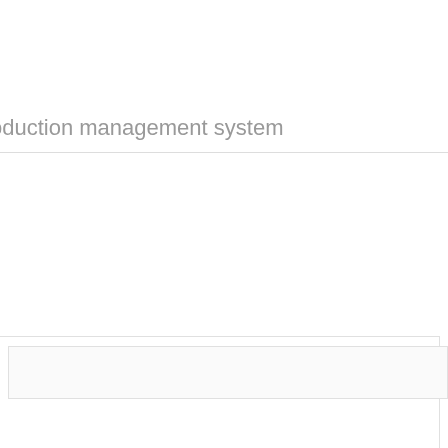oduction management system
[Figure (other): A bordered container box with an inner input field box, part of a production management system UI]